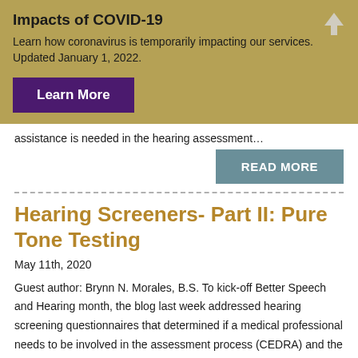Impacts of COVID-19
Learn how coronavirus is temporarily impacting our services. Updated January 1, 2022.
assistance is needed in the hearing assessment…
READ MORE
Hearing Screeners- Part II: Pure Tone Testing
May 11th, 2020
Guest author: Brynn N. Morales, B.S. To kick-off Better Speech and Hearing month, the blog last week addressed hearing screening questionnaires that determined if a medical professional needs to be involved in the assessment process (CEDRA) and the effect hearing acuity has on lifestyle (HHI).  However, most people think of hearing screeners as